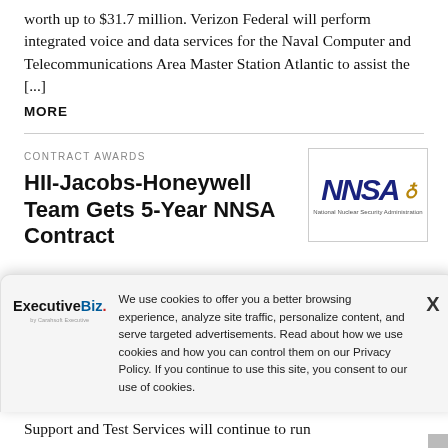worth up to $31.7 million. Verizon Federal will perform integrated voice and data services for the Naval Computer and Telecommunications Area Master Station Atlantic to assist the [...] MORE
CONTRACT AWARDS
HII-Jacobs-Honeywell Team Gets 5-Year NNSA Contract
[Figure (logo): NNSA (National Nuclear Security Administration) logo — bold blue italic letters NNSA with a globe emblem and tagline text below]
We use cookies to offer you a better browsing experience, analyze site traffic, personalize content, and serve targeted advertisements. Read about how we use cookies and how you can control them on our Privacy Policy. If you continue to use this site, you consent to our use of cookies.
[Figure (logo): ExecutiveBiz. logo — by Carahsoft Executive, bold text logo]
Support and Test Services will continue to run